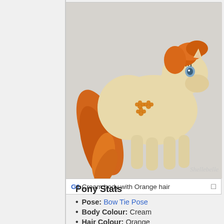[Figure (photo): A cream-colored My Little Pony toy with orange hair and tail, featuring orange flower/bow symbols on its side. Watermark reads 'Shellebelle'. Photo background is light gray.]
G1 Cream body with Orange hair
Pony Stats
Pose: Bow Tie Pose
Body Colour: Cream
Hair Colour: Orange